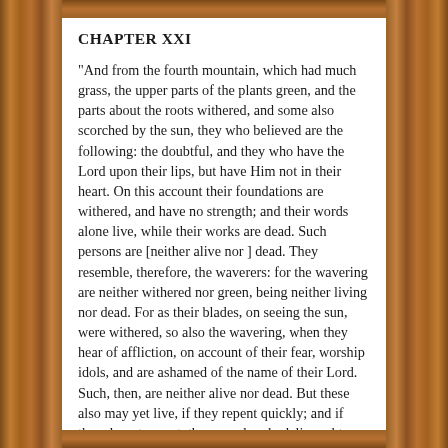CHAPTER XXI
"And from the fourth mountain, which had much grass, the upper parts of the plants green, and the parts about the roots withered, and some also scorched by the sun, they who believed are the following: the doubtful, and they who have the Lord upon their lips, but have Him not in their heart. On this account their foundations are withered, and have no strength; and their words alone live, while their works are dead. Such persons are [neither alive nor ] dead. They resemble, therefore, the waverers: for the wavering are neither withered nor green, being neither living nor dead. For as their blades, on seeing the sun, were withered, so also the wavering, when they hear of affliction, on account of their fear, worship idols, and are ashamed of the name of their Lord. Such, then, are neither alive nor dead. But these also may yet live, if they repent quickly; and if they do not repent, they are already delivered to the women, who take away their life.
CHAPTER XXII.
"And from the fifth mountain, which had green grass